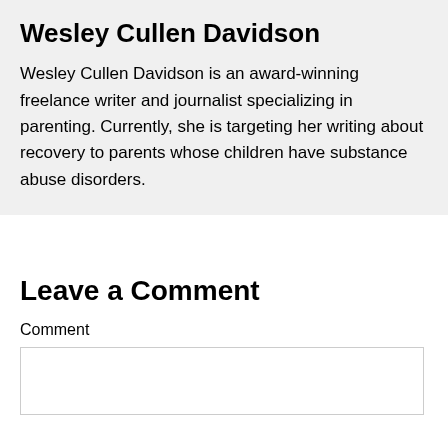Wesley Cullen Davidson
Wesley Cullen Davidson is an award-winning freelance writer and journalist specializing in parenting. Currently, she is targeting her writing about recovery to parents whose children have substance abuse disorders.
Leave a Comment
Comment